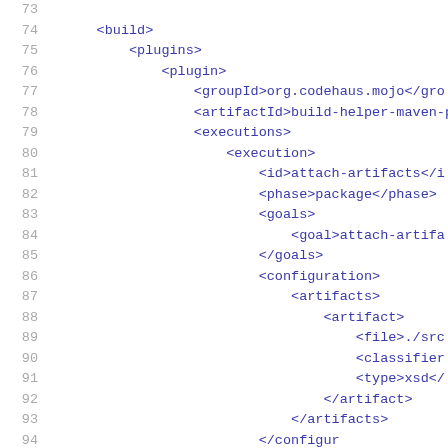73  
74      <build>
75          <plugins>
76              <plugin>
77                  <groupId>org.codehaus.mojo</groupId>
78                  <artifactId>build-helper-maven-p
79                  <executions>
80                      <execution>
81                          <id>attach-artifacts</id>
82                          <phase>package</phase>
83                          <goals>
84                              <goal>attach-artifa
85                          </goals>
86                          <configuration>
87                              <artifacts>
88                                  <artifact>
89                                      <file>./src
90                                      <classifier
91                                      <type>xsd</t
92                                  </artifact>
93                              </artifacts>
94                          </configuration>